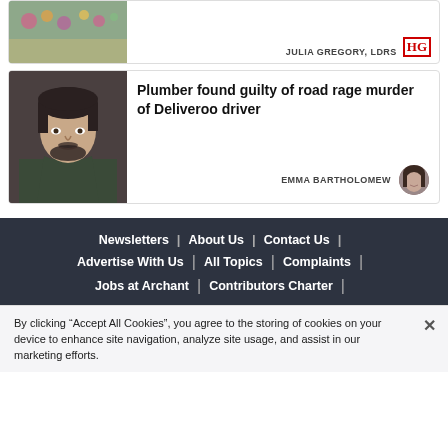[Figure (photo): Partial top card showing flowers/memorial image cropped at top, with author credit JULIA GREGORY, LDRS and HG badge on right]
JULIA GREGORY, LDRS
[Figure (photo): Mugshot photo of a young man with dark hair and beard]
Plumber found guilty of road rage murder of Deliveroo driver
EMMA BARTHOLOMEW
[Figure (photo): Circular avatar photo of Emma Bartholomew]
Newsletters | About Us | Contact Us | Advertise With Us | All Topics | Complaints | Jobs at Archant | Contributors Charter |
By clicking “Accept All Cookies”, you agree to the storing of cookies on your device to enhance site navigation, analyze site usage, and assist in our marketing efforts.